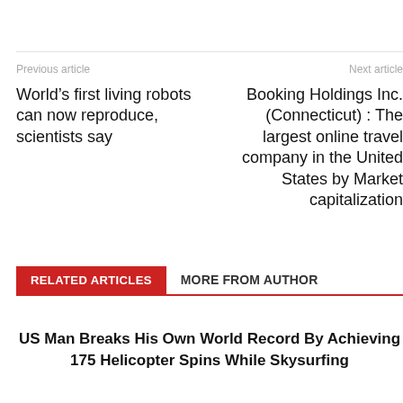Previous article
Next article
World’s first living robots can now reproduce, scientists say
Booking Holdings Inc. (Connecticut) : The largest online travel company in the United States by Market capitalization
RELATED ARTICLES
MORE FROM AUTHOR
US Man Breaks His Own World Record By Achieving 175 Helicopter Spins While Skysurfing